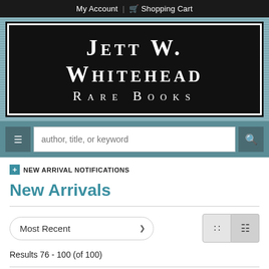My Account | Shopping Cart
[Figure (logo): Jett W. Whitehead Rare Books logo — white serif text on black background with white border]
[Figure (screenshot): Search bar with hamburger menu button, author/title/keyword placeholder text input, and search icon button on teal background]
+ NEW ARRIVAL NOTIFICATIONS
New Arrivals
Most Recent dropdown and grid/list view toggle buttons
Results 76 - 100 (of 100)